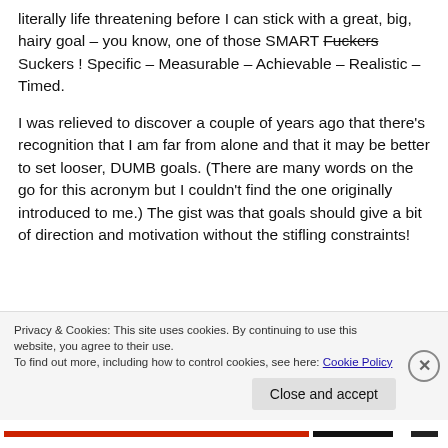literally life threatening before I can stick with a great, big, hairy goal – you know, one of those SMART Fuckers Suckers ! Specific – Measurable – Achievable – Realistic – Timed.
I was relieved to discover a couple of years ago that there's recognition that I am far from alone and that it may be better to set looser, DUMB goals. (There are many words on the go for this acronym but I couldn't find the one originally introduced to me.) The gist was that goals should give a bit of direction and motivation without the stifling constraints!
Privacy & Cookies: This site uses cookies. By continuing to use this website, you agree to their use. To find out more, including how to control cookies, see here: Cookie Policy